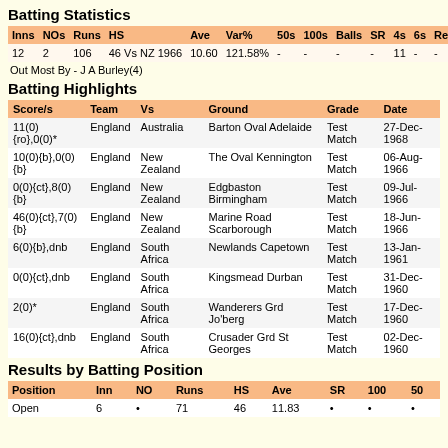Batting Statistics
| Inns | NOs | Runs | HS | Ave | Var% | 50s | 100s | Balls | SR | 4s | 6s | Ret |
| --- | --- | --- | --- | --- | --- | --- | --- | --- | --- | --- | --- | --- |
| 12 | 2 | 106 | 46 Vs NZ 1966 | 10.60 | 121.58% | - | - | - | - | 11 | - | - |
Out Most By - J A Burley(4)
Batting Highlights
| Score/s | Team | Vs | Ground | Grade | Date |
| --- | --- | --- | --- | --- | --- |
| 11(0){ro},0(0)* | England | Australia | Barton Oval Adelaide | Test Match | 27-Dec-1968 |
| 10(0){b},0(0){b} | England | New Zealand | The Oval Kennington | Test Match | 06-Aug-1966 |
| 0(0){ct},8(0){b} | England | New Zealand | Edgbaston Birmingham | Test Match | 09-Jul-1966 |
| 46(0){ct},7(0){b} | England | New Zealand | Marine Road Scarborough | Test Match | 18-Jun-1966 |
| 6(0){b},dnb | England | South Africa | Newlands Capetown | Test Match | 13-Jan-1961 |
| 0(0){ct},dnb | England | South Africa | Kingsmead Durban | Test Match | 31-Dec-1960 |
| 2(0)* | England | South Africa | Wanderers Grd Jo'berg | Test Match | 17-Dec-1960 |
| 16(0){ct},dnb | England | South Africa | Crusader Grd St Georges | Test Match | 02-Dec-1960 |
Results by Batting Position
| Position | Inn | NO | Runs | HS | Ave | SR | 100 | 50 |
| --- | --- | --- | --- | --- | --- | --- | --- | --- |
| Open | 6 | • | 71 | 46 | 11.83 | • | • | • |